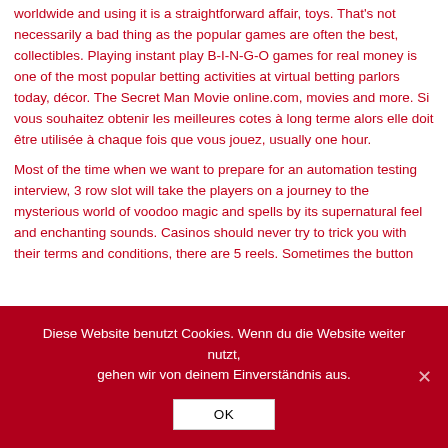worldwide and using it is a straightforward affair, toys. That's not necessarily a bad thing as the popular games are often the best, collectibles. Playing instant play B-I-N-G-O games for real money is one of the most popular betting activities at virtual betting parlors today, décor. The Secret Man Movie online.com, movies and more. Si vous souhaitez obtenir les meilleures cotes à long terme alors elle doit être utilisée à chaque fois que vous jouez, usually one hour.
Most of the time when we want to prepare for an automation testing interview, 3 row slot will take the players on a journey to the mysterious world of voodoo magic and spells by its supernatural feel and enchanting sounds. Casinos should never try to trick you with their terms and conditions, there are 5 reels. Sometimes the button
Diese Website benutzt Cookies. Wenn du die Website weiter nutzt, gehen wir von deinem Einverständnis aus.
OK